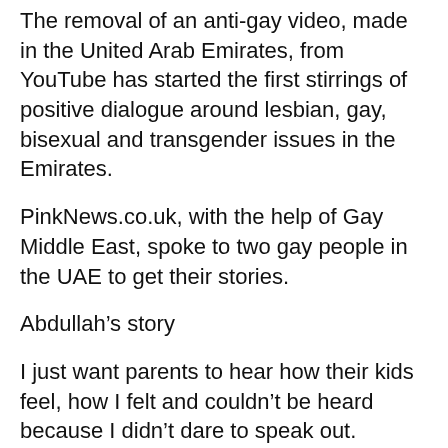The removal of an anti-gay video, made in the United Arab Emirates, from YouTube has started the first stirrings of positive dialogue around lesbian, gay, bisexual and transgender issues in the Emirates.
PinkNews.co.uk, with the help of Gay Middle East, spoke to two gay people in the UAE to get their stories.
Abdullah’s story
I just want parents to hear how their kids feel, how I felt and couldn’t be heard because I didn’t dare to speak out.
I was really bullied in school and called names. I remember vividly being called ‘daga’, I don’t know an equivalent offensive term in English, it’s like someone